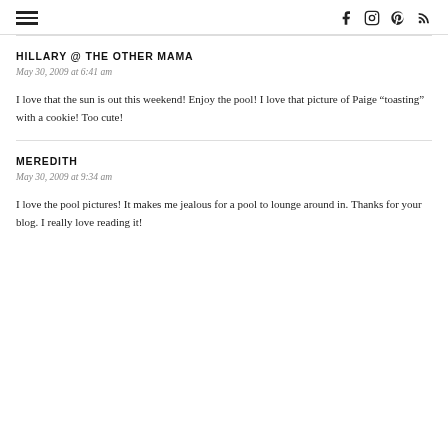Navigation and social icons header
HILLARY @ THE OTHER MAMA
May 30, 2009 at 6:41 am
I love that the sun is out this weekend! Enjoy the pool! I love that picture of Paige “toasting” with a cookie! Too cute!
MEREDITH
May 30, 2009 at 9:34 am
I love the pool pictures! It makes me jealous for a pool to lounge around in. Thanks for your blog. I really love reading it!